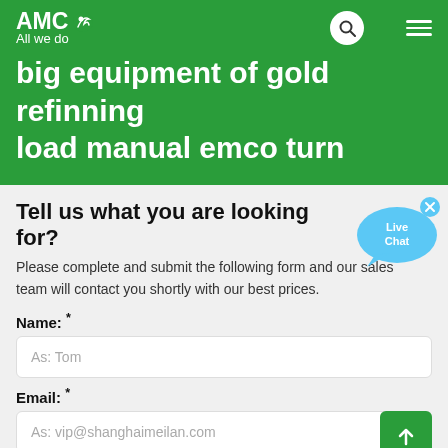AMC — All we do
big equipment of gold refinning load manual emco turn
Tell us what you are looking for?
Please complete and submit the following form and our sales team will contact you shortly with our best prices.
Name: *
As: Tom
Email: *
As: vip@shanghaimeilan.com
Phone: *
With Country Code